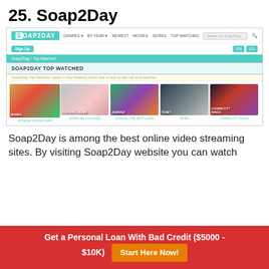25. Soap2Day
[Figure (screenshot): Screenshot of Soap2Day website showing the top navigation bar with logo, nav links (GENRES, BY YEAR, NEWEST, MOVIES, SERIES, TOP WATCHED), a Sign Up button, language buttons, search bar, breadcrumb bar, SOAP2DAY TOP WATCHED heading, subtitle text, and 5 movie thumbnails (Wonder Woman 1984, After We Collided, Jumanji: The Next Level, Tenet, Charm City Kings)]
Soap2Day is among the best online video streaming sites. By visiting Soap2Day website you can watch
Get a Personal Loan With Bad Credit ($5000 - $10K)
Start Here Now!